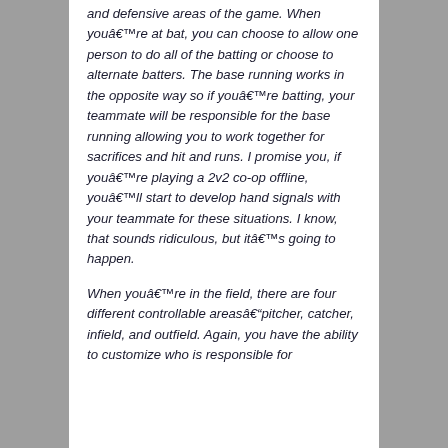and defensive areas of the game. When you’re at bat, you can choose to allow one person to do all of the batting or choose to alternate batters. The base running works in the opposite way so if you’re batting, your teammate will be responsible for the base running allowing you to work together for sacrifices and hit and runs. I promise you, if you’re playing a 2v2 co-op offline, you’ll start to develop hand signals with your teammate for these situations. I know, that sounds ridiculous, but it’s going to happen.
When you’re in the field, there are four different controllable areas—pitcher, catcher, infield, and outfield. Again, you have the ability to customize who is responsible for